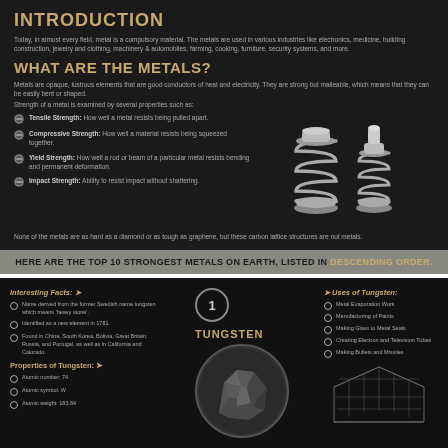INTRODUCTION
Today, in almost every field, metal is a compulsory material. The metals are used in various industries like electronics, medicine, building construction, jewelry and clothing, machinery & automobiles, farming, cooking, furniture, security systems, and more.
WHAT ARE THE METALS?
Metals are opaque, lustrous elements that are good conductors of heat and electricity. They are strong but malleable, which means that they can be easily bent or shaped.
Strength of a metal is examined by several properties such as:
Tensile Strength: How well a metal resists being pulled apart.
Compressive Strength: How well a material resists being squeezed together.
Yield Strength: How well a rod or beam of a particular metal resists bending and permanent deformation.
Impact Strength: Ability to resist impact without shattering.
None of the metals are as hard as a diamond or as tough as graphene, but these carbon lattice structures are not metals.
HERE ARE THE TOP 10 STRONGEST METALS ON EARTH, LISTED IN DESCENDING ORDER.
Interesting Facts:
Name derived from the former Swedish name tungsten which means 'heavy stone'.
Identified as a new element in 1781.
Found in China, South Korea, Bolivia, Great Britain, Russia, and Portugal, as well as in California and Colorado.
Properties of Tungsten:
Atomic number: 74
Atomic symbol: W
Atomic weight: 183.84
[Figure (infographic): Number 1 badge with TUNGSTEN label and mineral photo in circle]
Uses of Tungsten:
Metal Evaporation Work
Manufacturing of Paints
Making Glass to Metal Seals
Creating Electron and Television Tubes
Making Bullets and Missiles
[Figure (illustration): Architectural building illustration in bottom right]